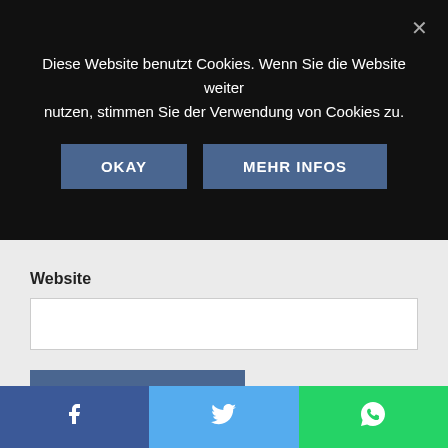Diese Website benutzt Cookies. Wenn Sie die Website weiter nutzen, stimmen Sie der Verwendung von Cookies zu.
OKAY
MEHR INFOS
Website
POST COMMENT
SUCHE
[Figure (screenshot): Social sharing bar with Facebook (blue), Twitter (light blue), and WhatsApp (green) icons at the bottom of the page]